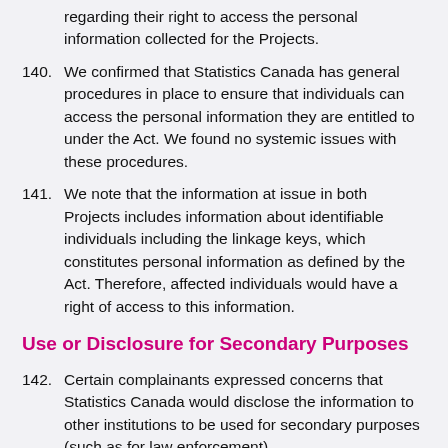(partial) regarding their right to access the personal information collected for the Projects.
140. We confirmed that Statistics Canada has general procedures in place to ensure that individuals can access the personal information they are entitled to under the Act. We found no systemic issues with these procedures.
141. We note that the information at issue in both Projects includes information about identifiable individuals including the linkage keys, which constitutes personal information as defined by the Act. Therefore, affected individuals would have a right of access to this information.
Use or Disclosure for Secondary Purposes
142. Certain complainants expressed concerns that Statistics Canada would disclose the information to other institutions to be used for secondary purposes (such as for law enforcement).